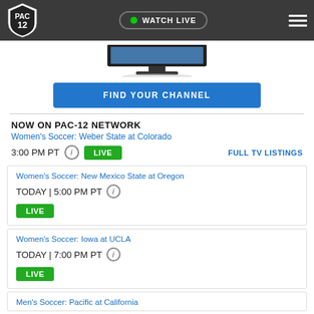PAC-12 Network | WATCH LIVE
[Figure (screenshot): Partial TV monitor image at top of page]
FIND YOUR CHANNEL
NOW ON PAC-12 NETWORK
Women's Soccer: Weber State at Colorado
3:00 PM PT  LIVE  FULL TV LISTINGS
Women's Soccer: New Mexico State at Oregon
TODAY | 5:00 PM PT  LIVE
Women's Soccer: Iowa at UCLA
TODAY | 7:00 PM PT  LIVE
Men's Soccer: Pacific at California